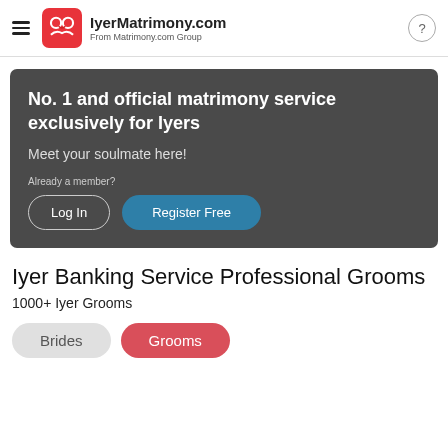IyerMatrimony.com
From Matrimony.com Group
[Figure (screenshot): Dark banner with text: No. 1 and official matrimony service exclusively for Iyers. Meet your soulmate here! Already a member? Log In | Register Free]
Iyer Banking Service Professional Grooms
1000+ Iyer Grooms
Brides   Grooms